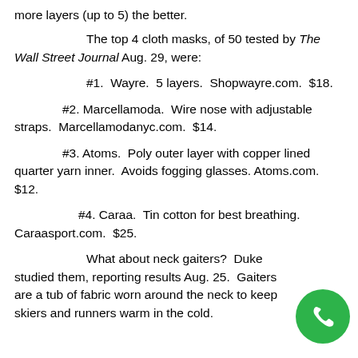more layers (up to 5) the better.
The top 4 cloth masks, of 50 tested by The Wall Street Journal Aug. 29, were:
#1.  Wayre.  5 layers.  Shopwayre.com.  $18.
#2. Marcellamoda.  Wire nose with adjustable straps.  Marcellamodanyc.com.  $14.
#3. Atoms.  Poly outer layer with copper lined quarter yarn inner.  Avoids fogging glasses.  Atoms.com.  $12.
#4. Caraa.  Tin cotton for best breathing.  Caraasport.com.  $25.
What about neck gaiters?  Duke studied them, reporting results Aug. 25.  Gaiters are a tub of fabric worn around the neck to keep skiers and runners warm in the cold.